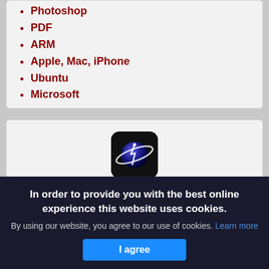Photoshop
PDF
ARM
Apple, Mac, iPhone
Ubuntu
Microsoft
[Figure (logo): App icon with a planet/globe and lightning bolt graphic on a black rounded-square background]
In order to provide you with the best online experience this website uses cookies.
By using our website, you agree to our use of cookies. Learn more
I agree